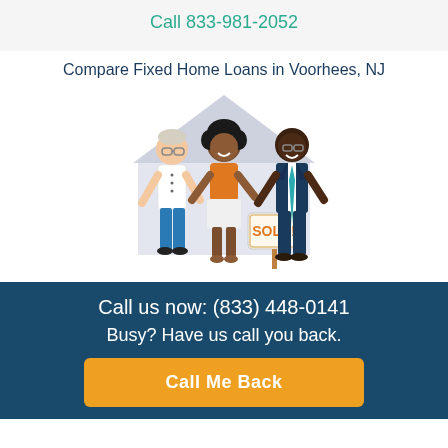Call 833-981-2052
Compare Fixed Home Loans in Voorhees, NJ
[Figure (illustration): Illustration of three people in front of a house outline: an older man in white shirt and blue pants, a woman in orange top and white skirt, and a man in a dark blue suit with teal tie. A 'SOLD!' sign is in the center foreground.]
Call us now: (833) 448-0141
Busy? Have us call you back.
Call Me Back